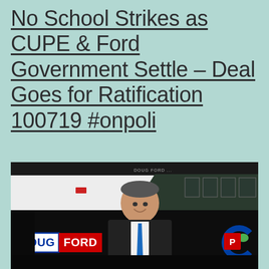No School Strikes as CUPE & Ford Government Settle – Deal Goes for Ratification 100719 #onpoli
[Figure (photo): Photo of a Doug Ford campaign bus with a large image of Doug Ford on the side, showing 'DOUG FORD' signage and the Progressive Conservative party logo. Dark bus against a background with trees.]